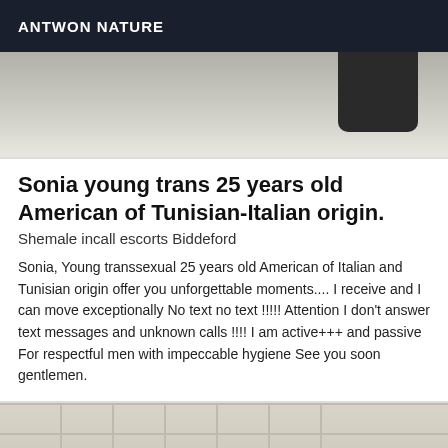ANTWON NATURE
[Figure (photo): Top portion of a photo, partially visible, showing dark clothing against a light background]
Sonia young trans 25 years old American of Tunisian-Italian origin.
Shemale incall escorts Biddeford
Sonia, Young transsexual 25 years old American of Italian and Tunisian origin offer you unforgettable moments.... I receive and I can move exceptionally No text no text !!!!! Attention I don't answer text messages and unknown calls !!!! I am active+++ and passive For respectful men with impeccable hygiene See you soon gentlemen.
[Figure (photo): Bottom portion of a photo showing a bathroom with white tile floor and a person's head visible at the bottom center]